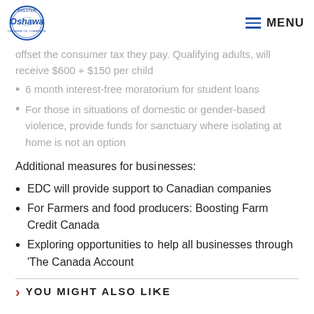Greater Oshawa Chamber of Commerce | MENU
offset the consumer tax they pay. Qualifying adults, will receive $600 + $150 per child
6 month interest-free moratorium for student loans
For those in situations of domestic or gender-based violence, provide funds for sanctuary where isolating at home is not an option
Additional measures for businesses:
EDC will provide support to Canadian companies
For Farmers and food producers: Boosting Farm Credit Canada
Exploring opportunities to help all businesses through 'The Canada Account
YOU MIGHT ALSO LIKE